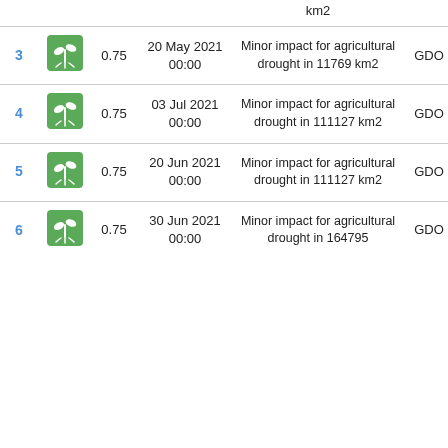| # | Icon | Score | Date | Description | Source |
| --- | --- | --- | --- | --- | --- |
|  |  |  | km2 |  |  |
| 3 | [icon] | 0.75 | 20 May 2021 00:00 | Minor impact for agricultural drought in 11769 km2 | GDO |
| 4 | [icon] | 0.75 | 03 Jul 2021 00:00 | Minor impact for agricultural drought in 111127 km2 | GDO |
| 5 | [icon] | 0.75 | 20 Jun 2021 00:00 | Minor impact for agricultural drought in 111127 km2 | GDO |
| 6 | [icon] | 0.75 | 30 Jun 2021 00:00 | Minor impact for agricultural drought in 164795 | GDO |